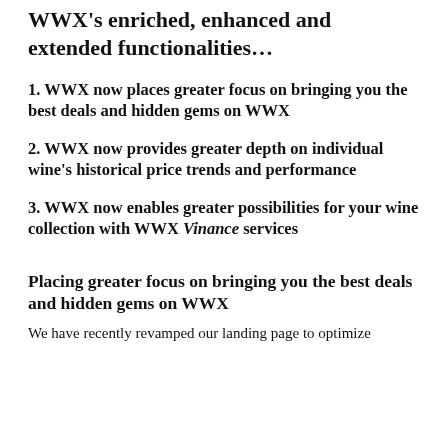WWX's enriched, enhanced and extended functionalities…
1. WWX now places greater focus on bringing you the best deals and hidden gems on WWX
2. WWX now provides greater depth on individual wine's historical price trends and performance
3. WWX now enables greater possibilities for your wine collection with WWX Vinance services
Placing greater focus on bringing you the best deals and hidden gems on WWX
We have recently revamped our landing page to optimize